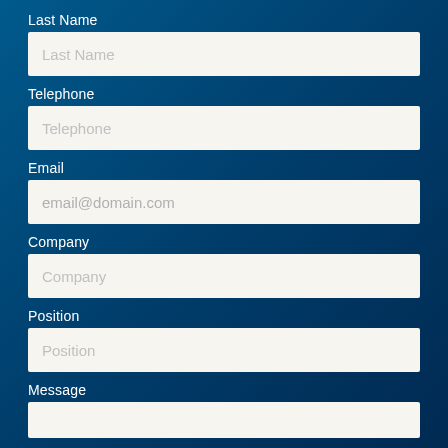Last Name
[Figure (other): Text input field with placeholder 'Last Name']
Telephone
[Figure (other): Text input field with placeholder 'Telephone']
Email
[Figure (other): Text input field with placeholder 'email@domain.com']
Company
[Figure (other): Text input field with placeholder 'Company']
Position
[Figure (other): Text input field with placeholder 'Position']
Message
[Figure (other): Text input field with placeholder for message (partially visible)]